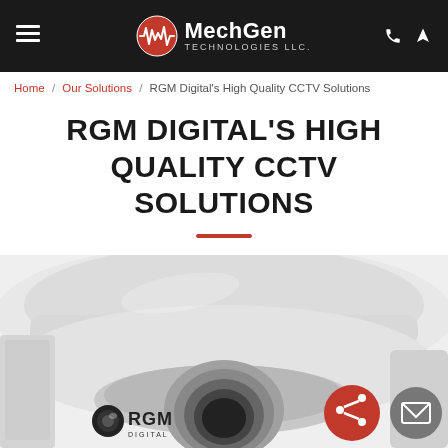[Figure (logo): MechGen Technologies LLC header bar with hamburger menu icon, centered logo with waveform graphic and text, and phone/navigation icons on the right]
Home / Our Solutions / RGM Digital's High Quality CCTV Solutions
RGM DIGITAL'S HIGH QUALITY CCTV SOLUTIONS
[Figure (photo): Close-up photo of a white RGM Digital dome CCTV security camera against a light background, with RGM Digital logo visible on the camera body. A red share button and gray email button are overlaid in the lower right area.]